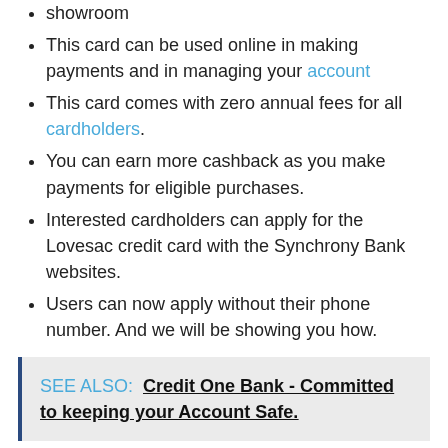showroom
This card can be used online in making payments and in managing your account
This card comes with zero annual fees for all cardholders.
You can earn more cashback as you make payments for eligible purchases.
Interested cardholders can apply for the Lovesac credit card with the Synchrony Bank websites.
Users can now apply without their phone number. And we will be showing you how.
SEE ALSO: Credit One Bank - Committed to keeping your Account Safe.
Firstly, let's lists out the other requirement needed in applying without the phone number.